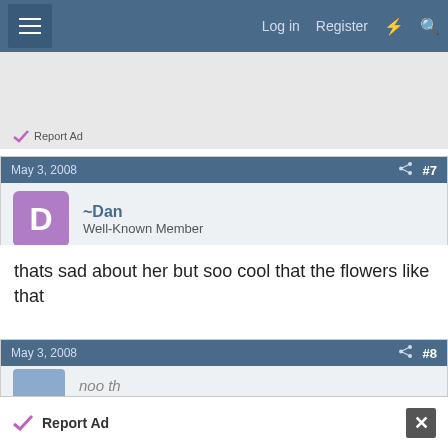Log in  Register
[Figure (screenshot): Ad area with Report Ad link]
May 3, 2008  #7
~Dan
Well-Known Member
thats sad about her but soo cool that the flowers like that
May 3, 2008  #8
[Figure (screenshot): Bottom Report Ad bar with close button]